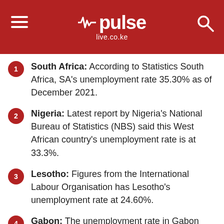pulse live.co.ke
South Africa: According to Statistics South Africa, SA's unemployment rate 35.30% as of December 2021.
Nigeria: Latest report by Nigeria's National Bureau of Statistics (NBS) said this West African country's unemployment rate is at 33.3%.
Lesotho: Figures from the International Labour Organisation has Lesotho's unemployment rate at 24.60%.
Gabon: The unemployment rate in Gabon increased to 22.30% in December 2021.
Somalia: According to The World Bank, Somalia's unemployment rate is currently at 19.8%.
Tunisia: According to Tunisia's National Institute of